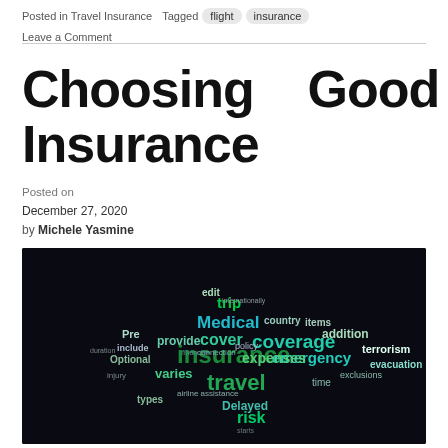Posted in Travel Insurance  Tagged  flight  insurance  Leave a Comment
Choosing Good Trip Insurance
Posted on December 27, 2020 by Michele Yasmine
[Figure (illustration): Word cloud in the shape of an airplane on a dark background, featuring travel insurance-related words such as: insurance, travel, coverage, Medical, emergency, cover, expenses, trip, risk, Delayed, provide, varies, addition, terrorism, evacuation, exclusions, policy, country, items, Pre, Optional, types, and more in green, teal, and white text.]